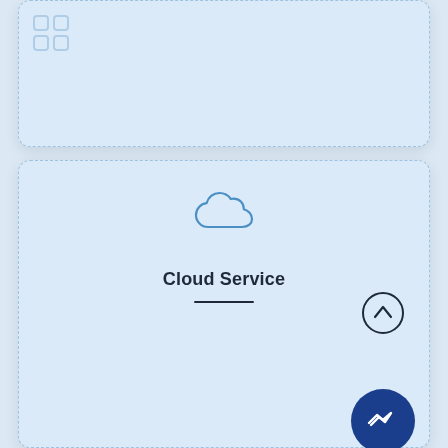[Figure (illustration): Top card with a 2x2 grid app icon, partially visible, light blue background with dashed border]
[Figure (illustration): Bottom card with cloud icon, title 'Cloud Service', a horizontal divider line, an up-arrow circle button, and a Facebook Messenger circle button]
Cloud Service